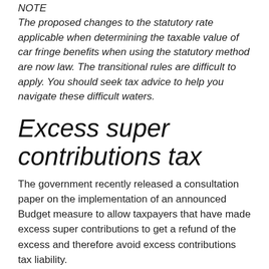NOTE
The proposed changes to the statutory rate applicable when determining the taxable value of car fringe benefits when using the statutory method are now law. The transitional rules are difficult to apply. You should seek tax advice to help you navigate these difficult waters.
Excess super contributions tax
The government recently released a consultation paper on the implementation of an announced Budget measure to allow taxpayers that have made excess super contributions to get a refund of the excess and therefore avoid excess contributions tax liability.
The option will only be available from the 2011/12 income year for taxpayers that are first-time offenders and where the cap has been breached by $10,000 or